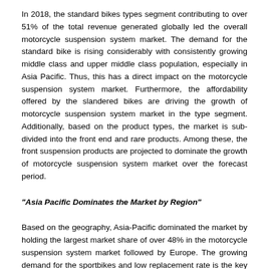In 2018, the standard bikes types segment contributing to over 51% of the total revenue generated globally led the overall motorcycle suspension system market. The demand for the standard bike is rising considerably with consistently growing middle class and upper middle class population, especially in Asia Pacific. Thus, this has a direct impact on the motorcycle suspension system market. Furthermore, the affordability offered by the slandered bikes are driving the growth of motorcycle suspension system market in the type segment. Additionally, based on the product types, the market is sub-divided into the front end and rare products. Among these, the front suspension products are projected to dominate the growth of motorcycle suspension system market over the forecast period.
"Asia Pacific Dominates the Market by Region"
Based on the geography, Asia-Pacific dominated the market by holding the largest market share of over 48% in the motorcycle suspension system market followed by Europe. The growing demand for the sportbikes and low replacement rate is the key factor that drives the growth of Asia Pacific motorcycle suspension system market. Furthermore, the rapidly growing automotive industry in China and India